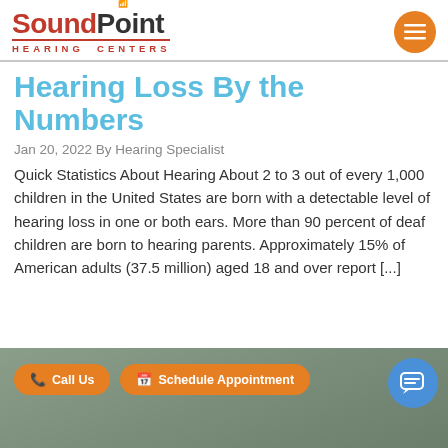SoundPoint HEARING CENTERS
...Hearing Loss By the Numbers
Jan 20, 2022 By Hearing Specialist
Quick Statistics About Hearing About 2 to 3 out of every 1,000 children in the United States are born with a detectable level of hearing loss in one or both ears. More than 90 percent of deaf children are born to hearing parents. Approximately 15% of American adults (37.5 million) aged 18 and over report [...]
[Figure (photo): Bottom section showing call-to-action buttons: 'Call Us' and 'Schedule Appointment' in orange pill-shaped buttons, a blue chat bubble button, and a partial photo of a person]